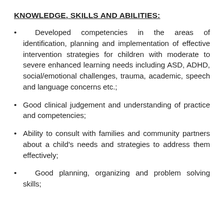KNOWLEDGE, SKILLS AND ABILITIES:
Developed competencies in the areas of identification, planning and implementation of effective intervention strategies for children with moderate to severe enhanced learning needs including ASD, ADHD, social/emotional challenges, trauma, academic, speech and language concerns etc.;
Good clinical judgement and understanding of practice and competencies;
Ability to consult with families and community partners about a child's needs and strategies to address them effectively;
Good planning, organizing and problem solving skills;